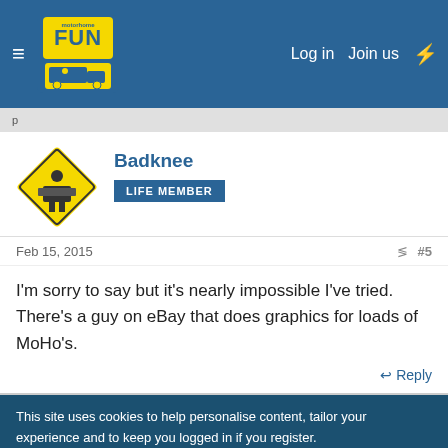Motorhome Fun — Log in | Join us
Badknee
LIFE MEMBER
Feb 15, 2015   #5
I'm sorry to say but it's nearly impossible I've tried. There's a guy on eBay that does graphics for loads of MoHo's.
Reply
This site uses cookies to help personalise content, tailor your experience and to keep you logged in if you register.
By continuing to use this site, you are consenting to our use of cookies.
✓ Accept   Learn more…